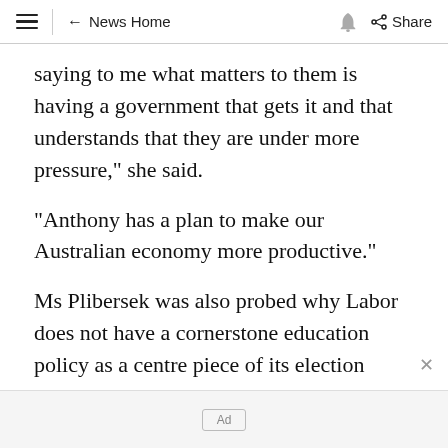≡ ← News Home 🔔 Share
saying to me what matters to them is having a government that gets it and that understands that they are under more pressure," she said.
"Anthony has a plan to make our Australian economy more productive."
Ms Plibersek was also probed why Labor does not have a cornerstone education policy as a centre piece of its election pitch.
Previous elections have seen Labor run major
Ad